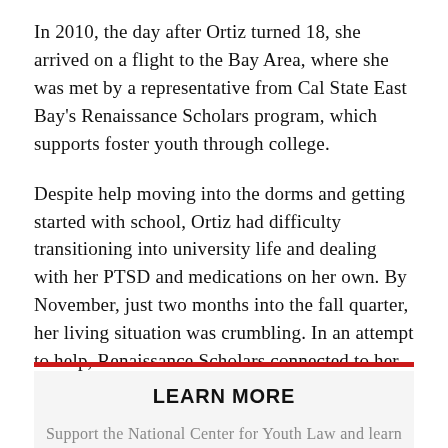In 2010, the day after Ortiz turned 18, she arrived on a flight to the Bay Area, where she was met by a representative from Cal State East Bay's Renaissance Scholars program, which supports foster youth through college.
Despite help moving into the dorms and getting started with school, Ortiz had difficulty transitioning into university life and dealing with her PTSD and medications on her own. By November, just two months into the fall quarter, her living situation was crumbling. In an attempt to help, Renaissance Scholars connected to her WestCoast Children's Clinic, a nonprofit that provides case management and therapy services for 17-21 year olds transitioning between foster or group homes and being on their own in the community.
LEARN MORE
Support the National Center for Youth Law and learn